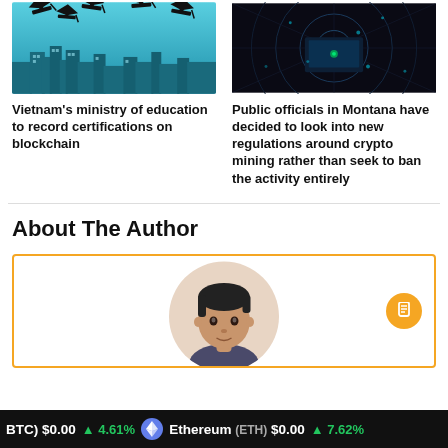[Figure (illustration): Illustration of graduation caps flying above a city skyline on a teal/blue background]
[Figure (photo): Dark technology/server room background with circular radar patterns]
Vietnam’s ministry of education to record certifications on blockchain
Public officials in Montana have decided to look into new regulations around crypto mining rather than seek to ban the activity entirely
About The Author
[Figure (photo): Circular portrait photo of a young Asian man, partially visible, inside an orange-bordered author card]
BTC) $0.00  4.61%   Ethereum (ETH) $0.00  7.62%